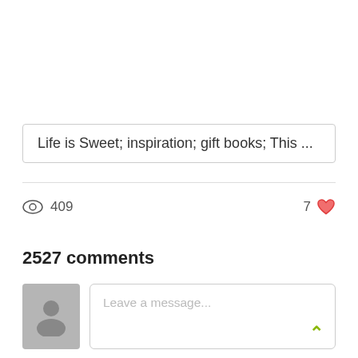Life is Sweet; inspiration; gift books; This ...
409 views  7 likes
2527 comments
Leave a message...
This is not a recent occurrence, but it has stuck with me. Years ago, I was a crossing guard for a public elementary school. I stood out in